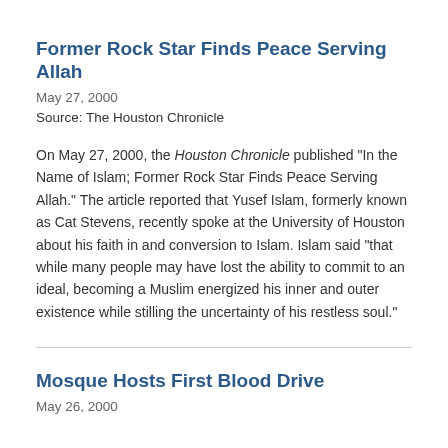Former Rock Star Finds Peace Serving Allah
May 27, 2000
Source: The Houston Chronicle
On May 27, 2000, the Houston Chronicle published "In the Name of Islam; Former Rock Star Finds Peace Serving Allah." The article reported that Yusef Islam, formerly known as Cat Stevens, recently spoke at the University of Houston about his faith in and conversion to Islam. Islam said "that while many people may have lost the ability to commit to an ideal, becoming a Muslim energized his inner and outer existence while stilling the uncertainty of his restless soul."
Mosque Hosts First Blood Drive
May 26, 2000